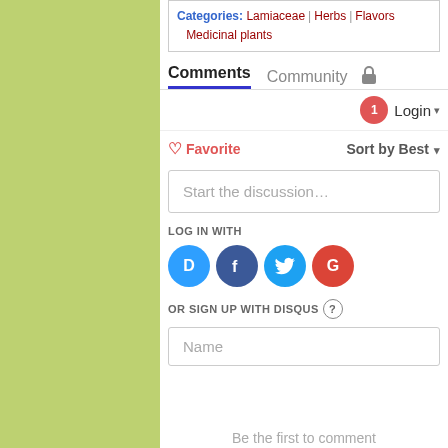Categories: Lamiaceae | Herbs | Flavors | Medicinal plants
Comments  Community 🔒
1  Login ▾
♡ Favorite    Sort by Best ▾
Start the discussion…
LOG IN WITH
[Figure (infographic): Social login icons: Disqus (blue circle D), Facebook (dark blue circle f), Twitter (light blue circle bird), Google (red circle G)]
OR SIGN UP WITH DISQUS ?
Name
Be the first to comment